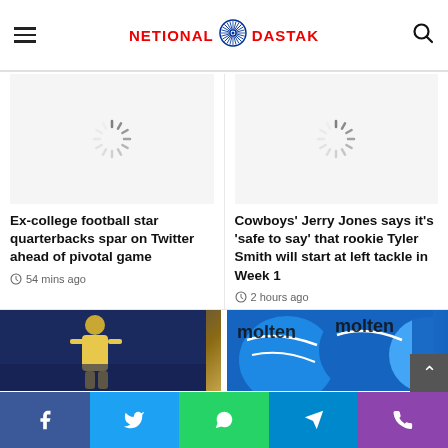NETIONAL DASTAK
[Figure (illustration): Loading spinner icon (image placeholder)]
Ex-college football star quarterbacks spar on Twitter ahead of pivotal game
54 mins ago
[Figure (illustration): Loading spinner icon (image placeholder)]
Cowboys' Jerry Jones says it's 'safe to say' that rookie Tyler Smith will start at left tackle in Week 1
2 hours ago
[Figure (photo): Basketball player in arena]
[Figure (photo): Molten brand volleyballs/sports equipment, blue and white]